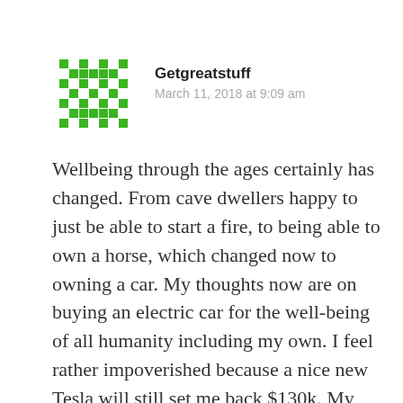[Figure (illustration): Green pixel/geometric avatar icon for user Getgreatstuff]
Getgreatstuff
March 11, 2018 at 9:09 am
Wellbeing through the ages certainly has changed. From cave dwellers happy to just be able to start a fire, to being able to own a horse, which changed now to owning a car. My thoughts now are on buying an electric car for the well-being of all humanity including my own. I feel rather impoverished because a nice new Tesla will still set me back $130k. My old Lexus SUV once a symbol of prosperity now considered a polluter on a global scale does